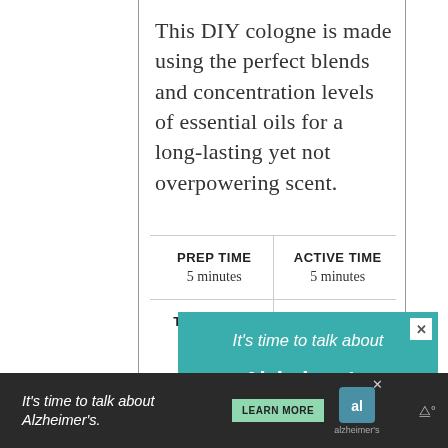This DIY cologne is made using the perfect blends and concentration levels of essential oils for a long-lasting yet not overpowering scent.
| PREP TIME | ACTIVE TIME |
| --- | --- |
| 5 minutes | 5 minutes |
| TOTAL TIME
10 minutes | DIFFICULTY
easy |
[Figure (infographic): Teal advertisement banner: 'It's time to talk about Alzheimer's.' with a LEARN MORE button and a close X button]
[Figure (infographic): Dark bottom bar advertisement: 'It's time to talk about Alzheimer's.' with LEARN MORE button and Alzheimer's association logo]